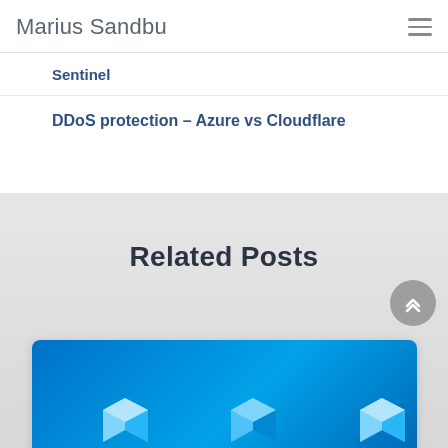Marius Sandbu
Sentinel
DDoS protection – Azure vs Cloudflare
Related Posts
[Figure (photo): Blue Azure-themed card image with 3D cube icons at the bottom of the page]